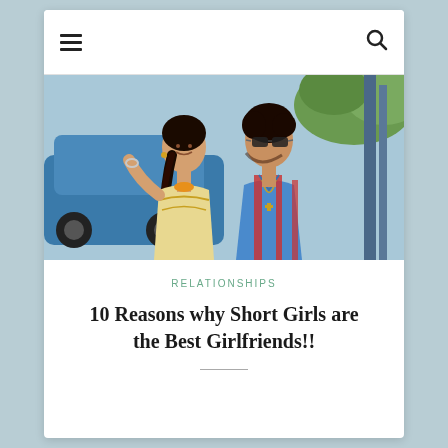Navigation bar with hamburger menu and search icon
[Figure (photo): A young South Asian couple in a romantic pose. The woman has a long braid and wears a yellow embroidered traditional outfit. The man wears sunglasses and a colorful striped shirt. A blue car is visible in the background.]
RELATIONSHIPS
10 Reasons why Short Girls are the Best Girlfriends!!